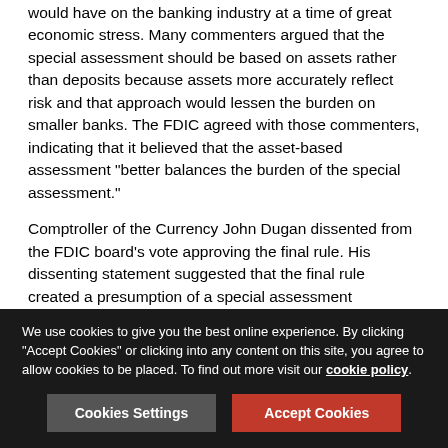would have on the banking industry at a time of great economic stress. Many commenters argued that the special assessment should be based on assets rather than deposits because assets more accurately reflect risk and that approach would lessen the burden on smaller banks. The FDIC agreed with those commenters, indicating that it believed that the asset-based assessment "better balances the burden of the special assessment."
Comptroller of the Currency John Dugan dissented from the FDIC board's vote approving the final rule. His dissenting statement suggested that the final rule created a presumption of a special assessment whenever the fund is projected to approach zero, which he viewed as inappropriate in light of the FDIC's increased borrowing authority. He indicated that the FDIC's borrowing authority could be used to reduce the up front costs of assessments by spreading them out over time.
We use cookies to give you the best online experience. By clicking "Accept Cookies" or clicking into any content on this site, you agree to allow cookies to be placed. To find out more visit our cookie policy.